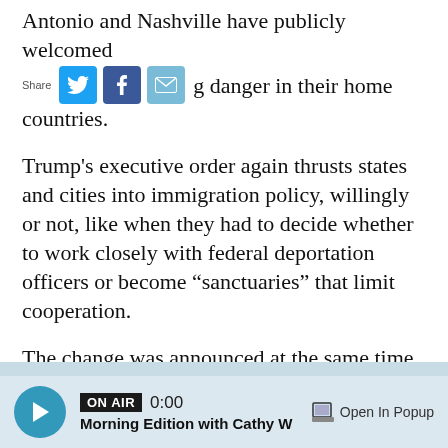Antonio and Nashville have publicly welcomed g danger in their home countries.
[Figure (screenshot): Social media share icons: Twitter (blue bird), Facebook (blue f), Email (envelope), with 'Share' label]
Trump's executive order again thrusts states and cities into immigration policy, willingly or not, like when they had to decide whether to work closely with federal deportation officers or become “sanctuaries” that limit cooperation.
The change was announced at the same time Trump cut the number of refugees to 18,000 next year, the lowest level since Congress passed the Refugee Act of 1980.
[Figure (screenshot): Audio player bar: play button, ON AIR badge, 0:00 timestamp, 'Morning Edition with Cathy W' show title, 'Open In Popup' button]